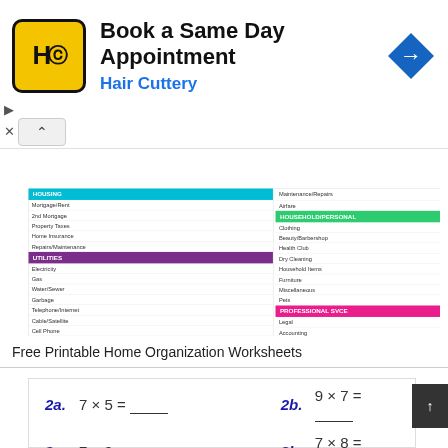[Figure (infographic): Hair Cuttery advertisement banner: Book a Same Day Appointment with Hair Cuttery logo and navigation arrow icon]
[Figure (table-as-image): Partial view of a Free Printable Home Organization / Budget Worksheet with colored category headers: teal, purple, orange, green, magenta]
Free Printable Home Organization Worksheets
[Figure (other): Partial view of a multiplication math worksheet showing problems: 2a. 7 x 5 = ___, 2b. 9 x 7 = ___, 3a. 7 x 9 = ___, 3b. 7 x 8 = ___, 4a. 7 x 6 = ___, 4b. 7 x 2 = ___]